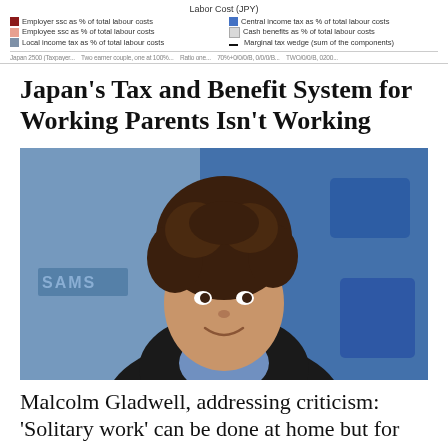[Figure (continuous-plot): Partial view of a chart titled 'Labor Cost (JPY)' with a legend showing: Employer ssc as % of total labour costs (dark red), Employee ssc as % of total labour costs (light pink), Local income tax as % of total labour costs (blue-grey), Central income tax as % of total labour costs (blue), Cash benefits as % of total labour costs (light grey line), Marginal tax wedge sum of the components (black line). Axis labels are partially visible at the bottom.]
Japan’s Tax and Benefit System for Working Parents Isn’t Working
[Figure (photo): Photograph of Malcolm Gladwell, a man with curly dark hair wearing a dark suit jacket and light blue shirt, smiling slightly, with a blurred blue background featuring what appears to be a Samsung sign.]
Malcolm Gladwell, addressing criticism: ‘Solitary work’ can be done at home but for